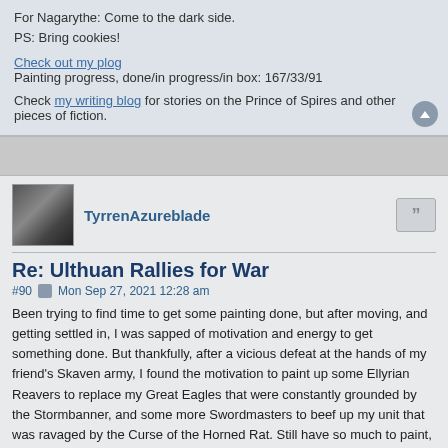For Nagarythe: Come to the dark side.
PS: Bring cookies!
Check out my plog
Painting progress, done/in progress/in box: 167/33/91
Check my writing blog for stories on the Prince of Spires and other pieces of fiction.
TyrrenAzureblade
Re: Ulthuan Rallies for War
#90  Mon Sep 27, 2021 12:28 am
Been trying to find time to get some painting done, but after moving, and getting settled in, I was sapped of motivation and energy to get something done. But thankfully, after a vicious defeat at the hands of my friend's Skaven army, I found the motivation to paint up some Ellyrian Reavers to replace my Great Eagles that were constantly grounded by the Stormbanner, and some more Swordmasters to beef up my unit that was ravaged by the Curse of the Horned Rat. Still have so much to paint, and TONS of gems and eyes to go back to and detail and finish. But for now, here're some elves.